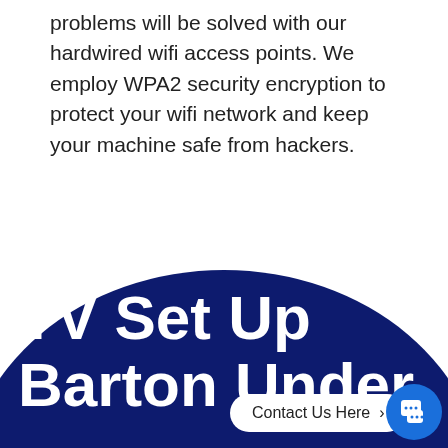problems will be solved with our hardwired wifi access points. We employ WPA2 security encryption to protect your wifi network and keep your machine safe from hackers.
TV Set Up Barton Under
Contact Us Here